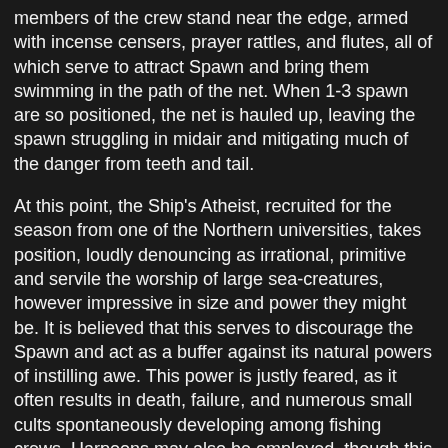members of the crew stand near the edge, armed with incense censers, prayer rattles, and flutes, all of which serve to attract Spawn and bring them swimming in the path of the net. When 1-3 spawn are so positioned, the net is hauled up, leaving the spawn struggling in midair and mitigating much of the danger from teeth and tail.
At this point, the Ship's Atheist, recruited for the season from one of the Northern universities, takes position, loudly denouncing as irrational, primitive and servile the worship of large sea-creatures, however impressive in size and power they might be. It is believed that this serves to discourage the Spawn and act as a buffer against its natural powers of instilling awe. This power is justly feared, as it often results in death, failure, and numerous small cults spontaneously developing among fishing crews. Harpoons may also be employed, though this is frowned upon in many modern operations, as they are not always effective, and may damage the skin. Once the Spawn is comatose, it is hauled aboard and flung into special lead-lined compartments built into the side of the ship.